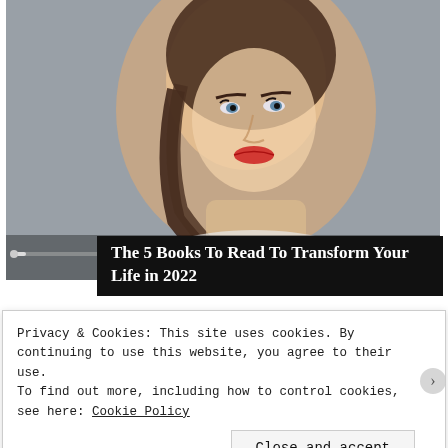[Figure (photo): Screenshot of a video player showing a portrait photo of a young woman with dark hair in a braided ponytail, wearing light clothing, with media player controls (previous, pause, next) and a progress bar overlaid at the bottom.]
The 5 Books To Read To Transform Your Life in 2022
[Figure (photo): Thumbnail image showing a green plant/leaf background with a white object, partially visible, associated with a medication-related article.]
Finding the Right Meds for
Privacy & Cookies: This site uses cookies. By continuing to use this website, you agree to their use.
To find out more, including how to control cookies, see here: Cookie Policy
Close and accept